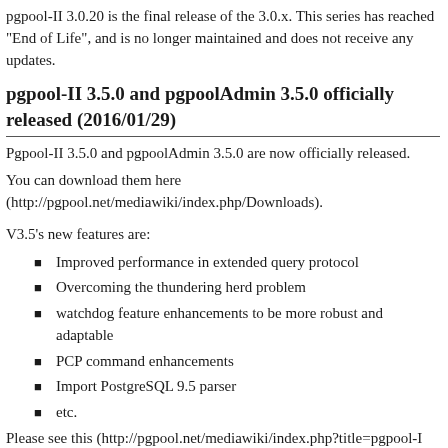pgpool-II 3.0.20 is the final release of the 3.0.x. This series has reached "End of Life", and is no longer maintained and does not receive any updates.
pgpool-II 3.5.0 and pgpoolAdmin 3.5.0 officially released (2016/01/29)
Pgpool-II 3.5.0 and pgpoolAdmin 3.5.0 are now officially released.
You can download them here (http://pgpool.net/mediawiki/index.php/Downloads).
V3.5's new features are:
Improved performance in extended query protocol
Overcoming the thundering herd problem
watchdog feature enhancements to be more robust and adaptable
PCP command enhancements
Import PostgreSQL 9.5 parser
etc.
Please see this (http://pgpool.net/mediawiki/index.php?title=pgpool-I